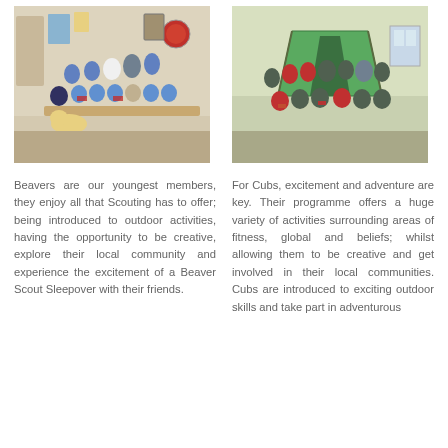[Figure (photo): Group photo of Beaver Scouts and leaders indoors in a meeting hall, children seated and standing, yellow labrador dog in front]
[Figure (photo): Group of Cub Scouts standing outside a large green tent in an indoor hall]
Beavers are our youngest members, they enjoy all that Scouting has to offer; being introduced to outdoor activities, having the opportunity to be creative, explore their local community and experience the excitement of a Beaver Scout Sleepover with their friends.
For Cubs, excitement and adventure are key. Their programme offers a huge variety of activities surrounding areas of fitness, global and beliefs; whilst allowing them to be creative and get involved in their local communities. Cubs are introduced to exciting outdoor skills and take part in adventurous